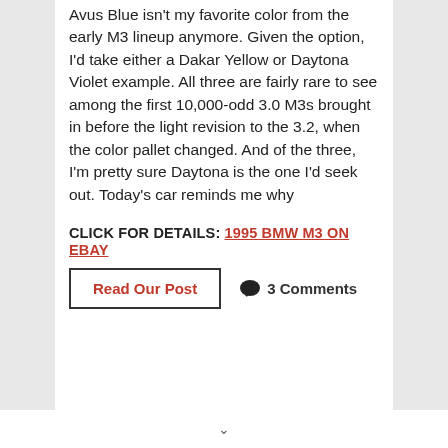Avus Blue isn't my favorite color from the early M3 lineup anymore. Given the option, I'd take either a Dakar Yellow or Daytona Violet example. All three are fairly rare to see among the first 10,000-odd 3.0 M3s brought in before the light revision to the 3.2, when the color pallet changed. And of the three, I'm pretty sure Daytona is the one I'd seek out. Today's car reminds me why
CLICK FOR DETAILS: 1995 BMW M3 ON EBAY
Read Our Post
3 Comments